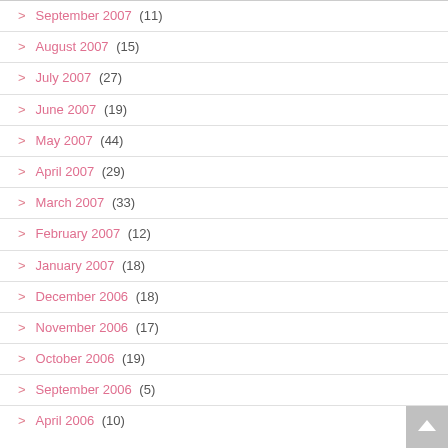September 2007 (11)
August 2007 (15)
July 2007 (27)
June 2007 (19)
May 2007 (44)
April 2007 (29)
March 2007 (33)
February 2007 (12)
January 2007 (18)
December 2006 (18)
November 2006 (17)
October 2006 (19)
September 2006 (5)
April 2006 (10)